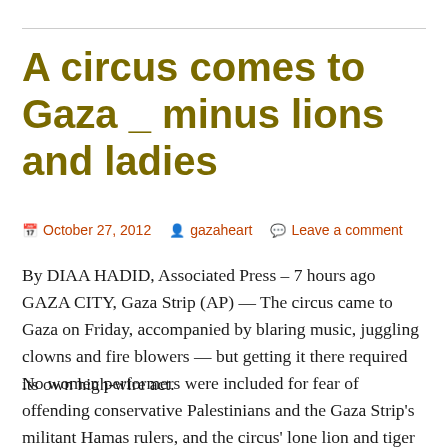A circus comes to Gaza _ minus lions and ladies
October 27, 2012   gazaheart   Leave a comment
By DIAA HADID, Associated Press – 7 hours ago GAZA CITY, Gaza Strip (AP) — The circus came to Gaza on Friday, accompanied by blaring music, juggling clowns and fire blowers — but getting it there required its own high-wire act.
No women performers were included for fear of offending conservative Palestinians and the Gaza Strip's militant Hamas rulers, and the circus' lone lion and tiger